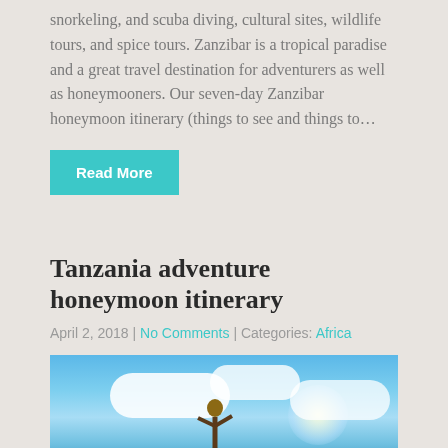snorkeling, and scuba diving, cultural sites, wildlife tours, and spice tours. Zanzibar is a tropical paradise and a great travel destination for adventurers as well as honeymooners. Our seven-day Zanzibar honeymoon itinerary (things to see and things to…
Read More
Tanzania adventure honeymoon itinerary
April 2, 2018 | No Comments | Categories: Africa
[Figure (photo): Outdoor photo of a person being lifted into the air by another person against a blue sky with white clouds and green trees and savanna landscape in background — Tanzania adventure scene]